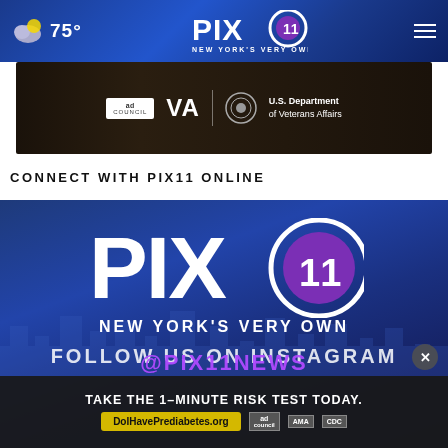75° PIX11 NEW YORK'S VERY OWN
[Figure (screenshot): Ad Council / U.S. Department of Veterans Affairs advertisement banner]
CONNECT WITH PIX11 ONLINE
[Figure (logo): PIX11 New York's Very Own logo on blue city background with 'FOLLOW US ON INSTAGRAM' text and @PIX11NEWS handle]
[Figure (screenshot): Overlay advertisement: TAKE THE 1-MINUTE RISK TEST TODAY. DolHavePrediabetes.org with Ad Council, AMA, and CDC logos]